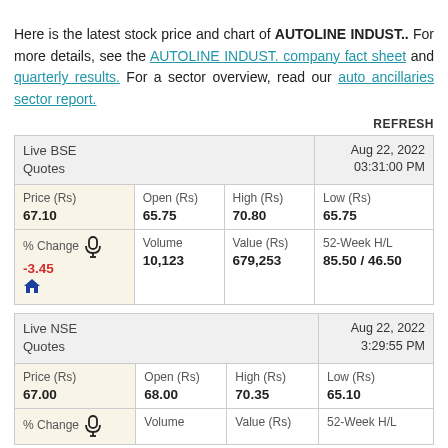Here is the latest stock price and chart of AUTOLINE INDUST.. For more details, see the AUTOLINE INDUST. company fact sheet and quarterly results. For a sector overview, read our auto ancillaries sector report.
REFRESH
| Live BSE Quotes |  |  | Aug 22, 2022 03:31:00 PM |
| --- | --- | --- | --- |
| Price (Rs)
67.10 | Open (Rs)
65.75 | High (Rs)
70.80 | Low (Rs)
65.75 |
| % Change
-3.45 | Volume
10,123 | Value (Rs)
679,253 | 52-Week H/L
85.50 / 46.50 |
| Live NSE Quotes |  |  | Aug 22, 2022 3:29:55 PM |
| --- | --- | --- | --- |
| Price (Rs)
67.00 | Open (Rs)
68.00 | High (Rs)
70.35 | Low (Rs)
65.10 |
| % Change | Volume | Value (Rs) | 52-Week H/L |